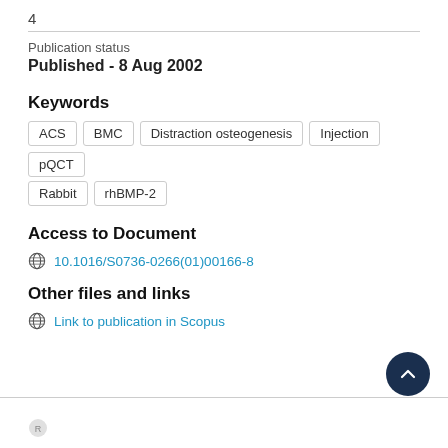4
Publication status
Published - 8 Aug 2002
Keywords
ACS
BMC
Distraction osteogenesis
Injection
pQCT
Rabbit
rhBMP-2
Access to Document
10.1016/S0736-0266(01)00166-8
Other files and links
Link to publication in Scopus